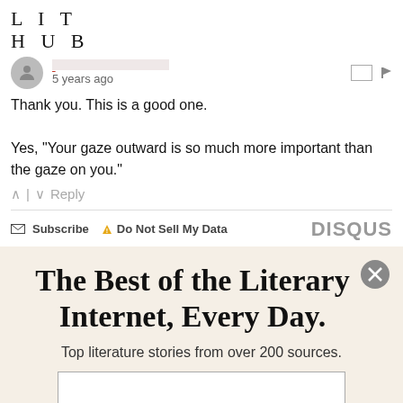[Figure (logo): Lit Hub logo — LIT HUB in spaced serif letters]
5 years ago
Thank you. This is a good one.

Yes, "Your gaze outward is so much more important than the gaze on you."
Reply
Subscribe   Do Not Sell My Data   DISQUS
The Best of the Literary Internet, Every Day.
Top literature stories from over 200 sources.
SUBSCRIBE